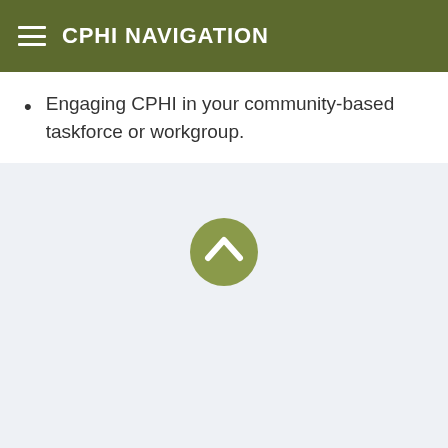CPHI NAVIGATION
Engaging CPHI in your community-based taskforce or workgroup.
[Figure (illustration): A circular scroll-up / back-to-top button icon with an olive/sage green background and a white upward-pointing chevron arrow, centered in a light blue-gray section.]